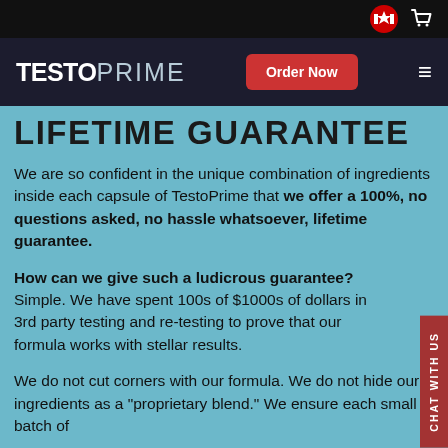TESTO PRIME — Order Now
LIFETIME GUARANTEE
We are so confident in the unique combination of ingredients inside each capsule of TestoPrime that we offer a 100%, no questions asked, no hassle whatsoever, lifetime guarantee.
How can we give such a ludicrous guarantee? Simple. We have spent 100s of $1000s of dollars in 3rd party testing and re-testing to prove that our formula works with stellar results.
We do not cut corners with our formula. We do not hide our ingredients as a "proprietary blend." We ensure each small batch of